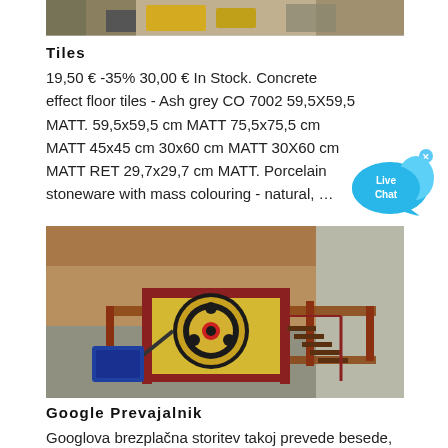[Figure (photo): Partial view of industrial machinery in a workshop setting, cropped at top of page]
Tiles
19,50 € -35% 30,00 € In Stock. Concrete effect floor tiles - Ash grey CO 7002 59,5X59,5 MATT. 59,5x59,5 cm MATT 75,5x75,5 cm MATT 45x45 cm 30x60 cm MATT 30X60 cm MATT RET 29,7x29,7 cm MATT. Porcelain stoneware with mass colouring - natural, …
[Figure (photo): Industrial jaw crusher machine on a platform with red and yellow paint, set against a rocky hillside background]
Google Prevajalnik
Googlova brezplačna storitev takoj prevede besede, besedne